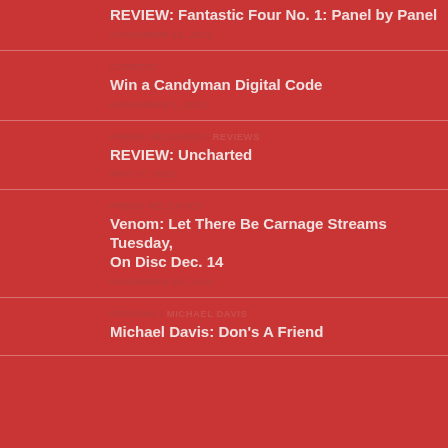REVIEW: Fantastic Four No. 1: Panel by Panel — NOVEMBER 15, 2021
CONTEST — Win a Candyman Digital Code — NOVEMBER 1, 2021
PRESS RELEASES / REVIEWS — REVIEW: Uncharted — MAY 17, 2022
PRESS RELEASES — Venom: Let There Be Carnage Streams Tuesday, On Disc Dec. 14 — NOVEMBER 20, 2021
REVIEWS / MICHAEL DAVIS — Michael Davis: Don's A Friend